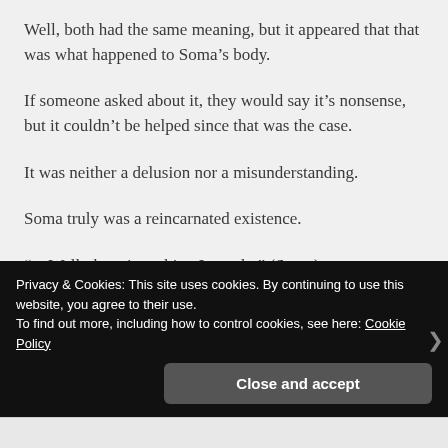Well, both had the same meaning, but it appeared that that was what happened to Soma’s body.
If someone asked about it, they would say it’s nonsense, but it couldn’t be helped since that was the case.
It was neither a delusion nor a misunderstanding.
Soma truly was a reincarnated existence.
“…Well, there is nothing I can do.” (Soma)
[faded/partially visible text]
Privacy & Cookies: This site uses cookies. By continuing to use this website, you agree to their use.
To find out more, including how to control cookies, see here: Cookie Policy
Close and accept